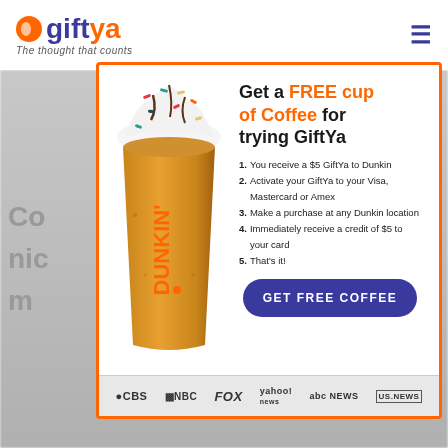[Figure (logo): GiftYa logo with orange circle icon, 'gift' in dark blue and 'ya' in orange, tagline 'The thought that counts']
[Figure (infographic): GiftYa promotional modal with Dunkin coffee cup, orange border, headline 'Get a FREE cup of Coffee for trying GiftYa', numbered list of steps, 'GET FREE COFFEE' button, and media logos bar (CBS, NBC, FOX, Yahoo! News, abc NEWS, US News)]